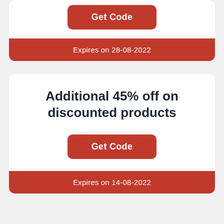Get Code
Expires on 28-08-2022
Additional 45% off on discounted products
Get Code
Expires on 14-08-2022